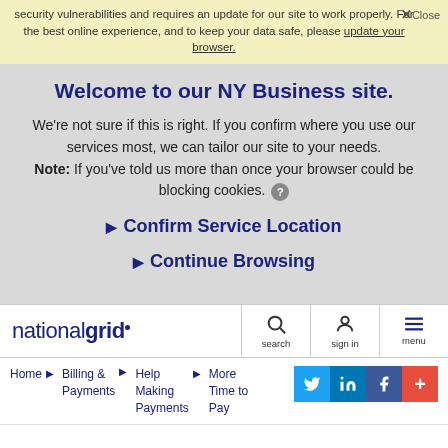security vulnerabilities and requires an update for our site to work properly. For the best online experience, and to keep your data safe, please update your browser.
Welcome to our NY Business site.
We're not sure if this is right. If you confirm where you use our services most, we can tailor our site to your needs. Note: If you've told us more than once your browser could be blocking cookies.
Confirm Service Location
Continue Browsing
[Figure (logo): nationalgrid logo]
search
sign in
menu
Home ▶ Billing & Payments ▶ Help Making Payments ▶ More Time to Pay